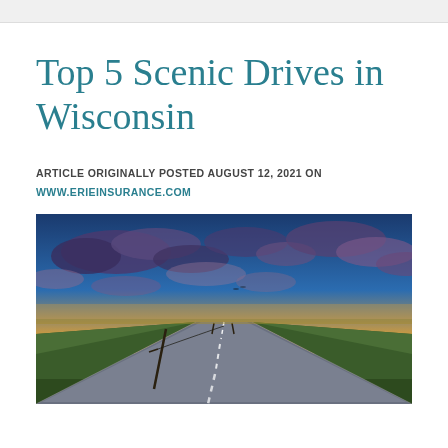Top 5 Scenic Drives in Wisconsin
ARTICLE ORIGINALLY POSTED AUGUST 12, 2021 ON WWW.ERIEINSURANCE.COM
[Figure (photo): A straight rural road stretching to the horizon at sunset, with dramatic blue and orange sky with clouds overhead, green fields on both sides, and the sun setting on the right horizon.]